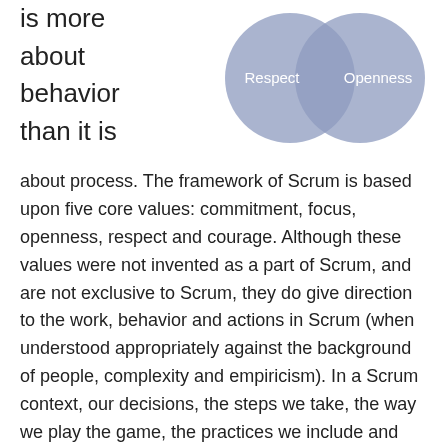is more
about
behavior
than it is
[Figure (infographic): Two overlapping circles diagram showing 'Respect' and 'Openness' values in Scrum, rendered in muted blue-grey color.]
about process. The framework of Scrum is based upon five core values: commitment, focus, openness, respect and courage. Although these values were not invented as a part of Scrum, and are not exclusive to Scrum, they do give direction to the work, behavior and actions in Scrum (when understood appropriately against the background of people, complexity and empiricism). In a Scrum context, our decisions, the steps we take, the way we play the game, the practices we include and the activities we undertake within Scrum should all re-enforce these values, not diminish or undermine them. Because, ultimately, more than on the rules of Scrum,